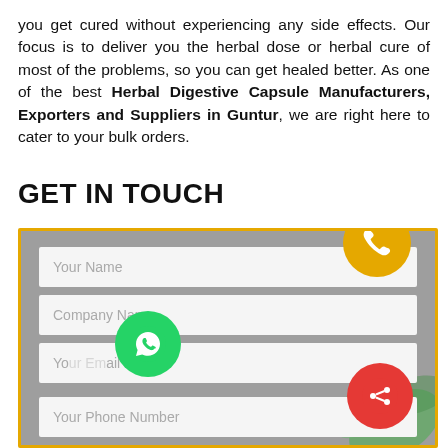you get cured without experiencing any side effects. Our focus is to deliver you the herbal dose or herbal cure of most of the problems, so you can get healed better. As one of the best Herbal Digestive Capsule Manufacturers, Exporters and Suppliers in Guntur, we are right here to cater to your bulk orders.
GET IN TOUCH
[Figure (screenshot): A contact form with a golden border on a grey background. Contains fields: Your Name, Company Name, Your Email (partially obscured), Your Phone Number. Decorative elements include an orange phone icon circle (top right), a green WhatsApp icon circle (bottom left), a red share icon circle (bottom right), and green leaves in the background.]